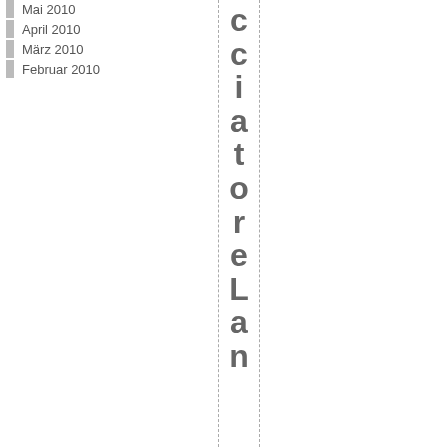Mai 2010
April 2010
März 2010
Februar 2010
cciatoreLan